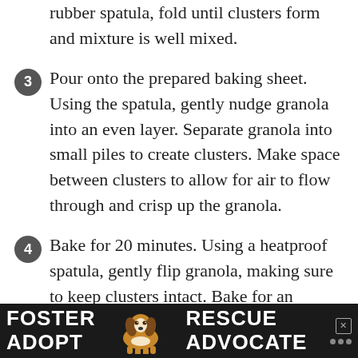Add all ingredients to a large bowl. Using a rubber spatula, fold until clusters form and mixture is well mixed.
Pour onto the prepared baking sheet. Using the spatula, gently nudge granola into an even layer. Separate granola into small piles to create clusters. Make space between clusters to allow for air to flow through and crisp up the granola.
Bake for 20 minutes. Using a heatproof spatula, gently flip granola, making sure to keep clusters intact. Bake for an additional 5-15 minutes, until edges are a deep golden brown and granola is just slightly soft. Be careful not to burn the granola. Mine took a total of 30 minutes. Ovens will vary.
[Figure (photo): Advertisement banner at bottom of page: dark background with white bold text reading FOSTER ADOPT on the left, RESCUE ADVOCATE on the right, with a photo of a beagle dog in the center. Small close button and speaker/mute icon visible.]